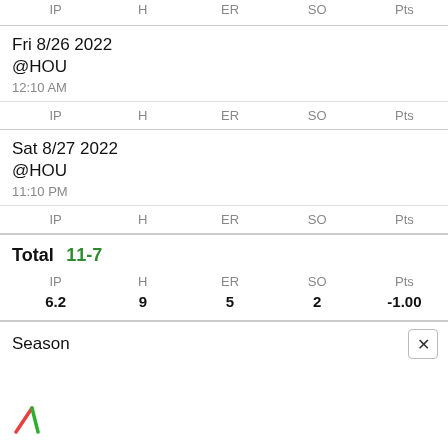| IP | H | ER | SO | Pts |
| --- | --- | --- | --- | --- |
| Fri 8/26 2022 @HOU 12:10 AM |  |  |  |  |
| IP | H | ER | SO | Pts |
| Sat 8/27 2022 @HOU 11:10 PM |  |  |  |  |
| IP | H | ER | SO | Pts |
| Total 11-7 |  |  |  |  |
| 6.2 | 9 | 5 | 2 | -1.00 |
| Season |  |  |  |  |